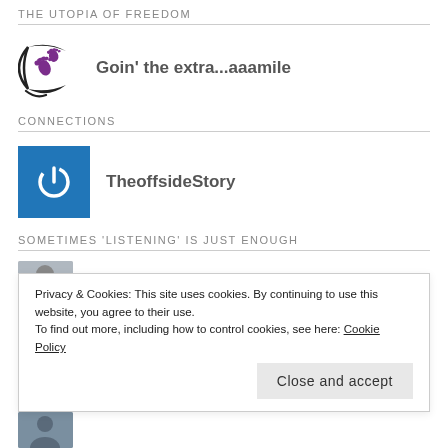THE UTOPIA OF FREEDOM
[Figure (logo): Purple footprints with crescent moon logo for 'Goin' the extra...aaamile' blog]
Goin' the extra...aaamile
CONNECTIONS
[Figure (logo): Blue square with white power button icon for TheoffsideStory]
TheoffsideStory
SOMETIMES 'LISTENING' IS JUST ENOUGH
[Figure (photo): Avatar thumbnail photo, partially visible]
Privacy & Cookies: This site uses cookies. By continuing to use this website, you agree to their use.
To find out more, including how to control cookies, see here: Cookie Policy
Close and accept
[Figure (photo): Second avatar thumbnail photo at bottom]